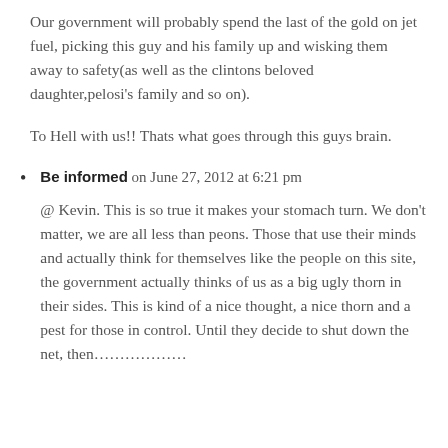Our government will probably spend the last of the gold on jet fuel, picking this guy and his family up and wisking them away to safety(as well as the clintons beloved daughter,pelosi's family and so on).
To Hell with us!! Thats what goes through this guys brain.
Be informed on June 27, 2012 at 6:21 pm
@ Kevin. This is so true it makes your stomach turn. We don't matter, we are all less than peons. Those that use their minds and actually think for themselves like the people on this site, the government actually thinks of us as a big ugly thorn in their sides. This is kind of a nice thought, a nice thorn and a pest for those in control. Until they decide to shut down the net, then………………